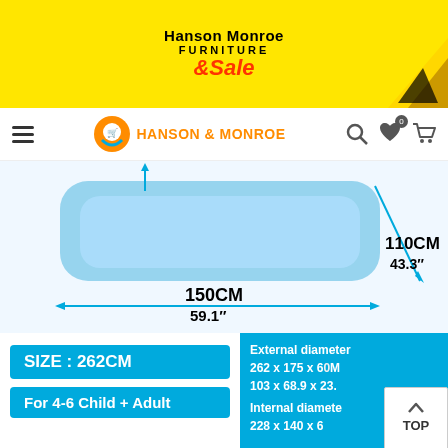[Figure (logo): Hanson Monroe Furniture Sale banner advertisement on yellow background with decorative arrow on right side]
Hanson Monroe Furniture Sale navigation bar with hamburger menu, logo, search icon, wishlist icon with badge 0, and cart icon
[Figure (photo): Blue inflatable swimming pool with dimension annotations: 150CM / 59.1" (length) and 110CM / 43.3" (width), shown with measurement arrows on light blue background]
SIZE : 262CM
For 4-6 Child + Adult
External diameter 262 x 175 x 60M 103 x 68.9 x 23. Internal diamete 228 x 140 x 6
TOP
ADD TO CART